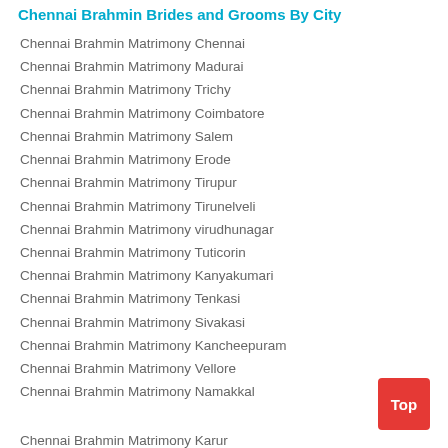Chennai Brahmin Brides and Grooms By City
Chennai Brahmin Matrimony Chennai
Chennai Brahmin Matrimony Madurai
Chennai Brahmin Matrimony Trichy
Chennai Brahmin Matrimony Coimbatore
Chennai Brahmin Matrimony Salem
Chennai Brahmin Matrimony Erode
Chennai Brahmin Matrimony Tirupur
Chennai Brahmin Matrimony Tirunelveli
Chennai Brahmin Matrimony virudhunagar
Chennai Brahmin Matrimony Tuticorin
Chennai Brahmin Matrimony Kanyakumari
Chennai Brahmin Matrimony Tenkasi
Chennai Brahmin Matrimony Sivakasi
Chennai Brahmin Matrimony Kancheepuram
Chennai Brahmin Matrimony Vellore
Chennai Brahmin Matrimony Namakkal
Chennai Brahmin Matrimony Karur
Chennai Brahmin Matrimony Dindigul